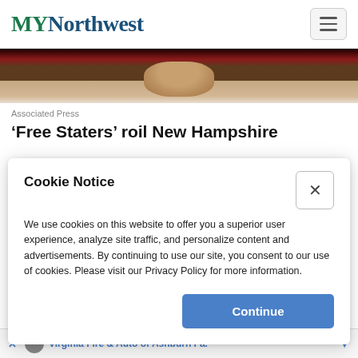MYNorthwest
[Figure (photo): Partial view of a person's face/neck visible at top, appears to be a news article photo]
Associated Press
‘Free Staters’ roil New Hampshire
Cookie Notice

We use cookies on this website to offer you a superior user experience, analyze site traffic, and personalize content and advertisements. By continuing to use our site, you consent to our use of cookies. Please visit our Privacy Policy for more information.
Continue
Virginia Fire & Auto of Ashburn Fa.